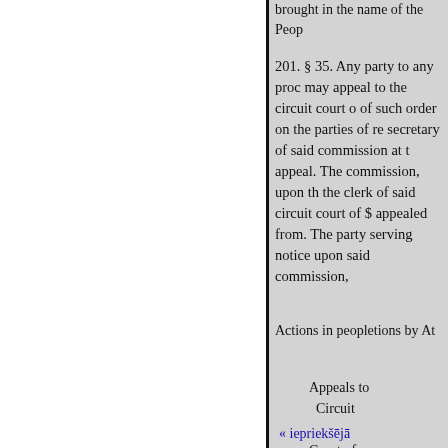brought in the name of the Peop
201. § 35. Any party to any proc may appeal to the circuit court o of such order on the parties of re secretary of said commission at t appeal. The commission, upon th the clerk of said circuit court of $ appealed from. The party serving notice upon said commission,
Actions in peopletions by At
Appeals to Circuit

Court of county.
« iepriekšējā